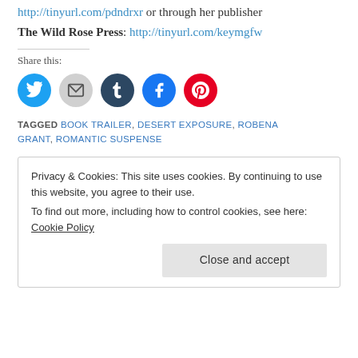http://tinyurl.com/pdndrxr or through her publisher
The Wild Rose Press: http://tinyurl.com/keymgfw
Share this:
[Figure (other): Social share buttons: Twitter (blue), Email (gray), Tumblr (dark blue), Facebook (blue), Pinterest (red)]
TAGGED BOOK TRAILER, DESERT EXPOSURE, ROBENA GRANT, ROMANTIC SUSPENSE
Privacy & Cookies: This site uses cookies. By continuing to use this website, you agree to their use. To find out more, including how to control cookies, see here: Cookie Policy. Close and accept.